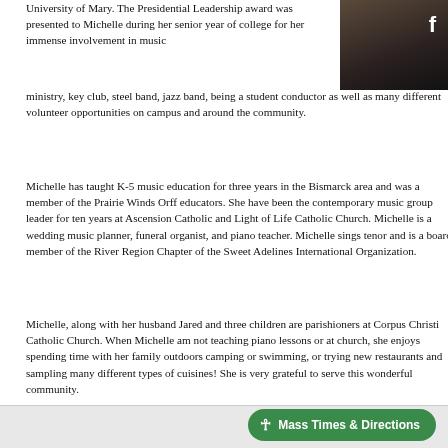[Figure (photo): Portrait photo of a woman with dark hair, partially visible in the top-right corner, with a Facebook icon overlay]
University of Mary. The Presidential Leadership award was presented to Michelle during her senior year of college for her immense involvement in music ministry, key club, steel band, jazz band, being a student conductor as well as many different volunteer opportunities on campus and around the community.
Michelle has taught K-5 music education for three years in the Bismarck area and was a member of the Prairie Winds Orff educators. She have been the contemporary music group leader for ten years at Ascension Catholic and Light of Life Catholic Church. Michelle is a wedding music planner, funeral organist, and piano teacher. Michelle sings tenor and is a board member of the River Region Chapter of the Sweet Adelines International Organization.
Michelle, along with her husband Jared and three children are parishioners at Corpus Christi Catholic Church. When Michelle am not teaching piano lessons or at church, she enjoys spending time with her family outdoors camping or swimming, or trying new restaurants and sampling many different types of cuisines! She is very grateful to serve this wonderful community.
Mass Times & Directions